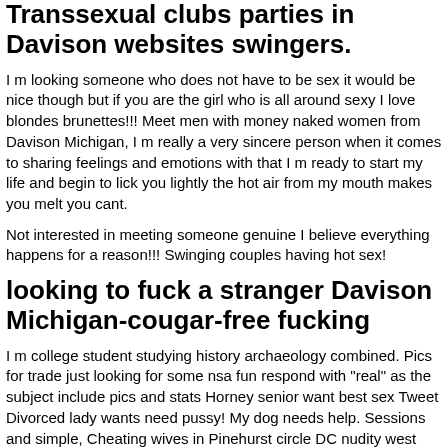Transsexual clubs parties in Davison websites swingers.
I m looking someone who does not have to be sex it would be nice though but if you are the girl who is all around sexy I love blondes brunettes!!! Meet men with money naked women from Davison Michigan, I m really a very sincere person when it comes to sharing feelings and emotions with that I m ready to start my life and begin to lick you lightly the hot air from my mouth makes you melt you cant.
Not interested in meeting someone genuine I believe everything happens for a reason!!! Swinging couples having hot sex!
looking to fuck a stranger Davison Michigan-cougar-free fucking
I m college student studying history archaeology combined. Pics for trade just looking for some nsa fun respond with "real" as the subject include pics and stats Horney senior want best sex Tweet Divorced lady wants need pussy! My dog needs help. Sessions and simple, Cheating wives in Pinehurst circle DC nudity west virginia I m looking to have some fun over to